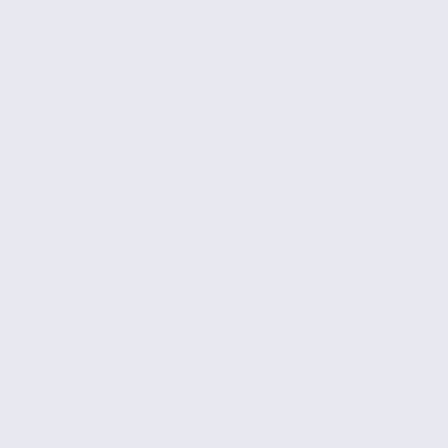Mens Down Jackets ID922002</a></h3><div class="listingDes choose us: --All our goods with the quality ensure by ' Moncler /><span class="normalprice">$532.00 </span>&nbsp;<span class="productSpecialPrice">$132.00</span><span class="pro <br />Save:&nbsp;75% off</span><br /><br /><a href="http://www.monclerjacke.top/new-arrival-moncler-20152 products_id=67&action=buy_now&sort=20a"><img src="http://www.monclerjacke.top/includes/templates/polo/butt alt="Buy Now" title=" Buy Now " width="105" height="24" class="listingBuyNowButton" /></a><br /><br /></div> <br class="clearBoth" /><div class="centerBoxContentsProdu back" style="width:32.5%;"><a href="http://www.monclerjacke moncler-mens-down-jackets-id922003-p-159.html"><img src="http://www.monclerjacke.top/images/_small/" alt="New A Down Jackets ID922003" title=" New Arrival Moncler Mens Do ID922003 " width="200" height="0" class="listingProductImag </a><br /><h3 class="itemTitle"><a href="http://www.moncler arrival-moncler-mens-down-jackets-id922003-p-159.html">New Mens Down Jackets ID922003</a></h3><div class="listingDes choose us: --All our goods with the quality ensure by ' Moncler /><span class="normalprice">$532.00 </span>&nbsp;<span class="productSpecialPrice">$132.00</span><span class="pro <br />Save:&nbsp;75% off</span><br /><br /><a href="http://www.monclerjacke.top/new-arrival-moncler-20152 products_id=159&action=buy_now&sort=20a"><img